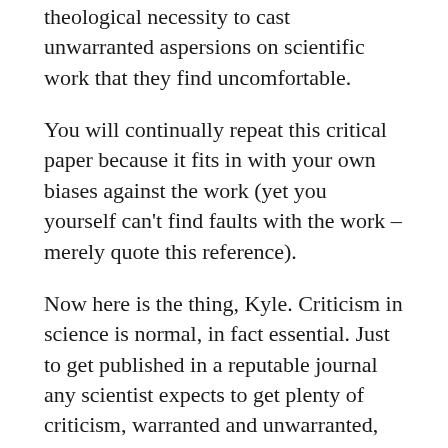theological necessity to cast unwarranted aspersions on scientific work that they find uncomfortable.
You will continually repeat this critical paper because it fits in with your own biases against the work (yet you yourself can't find faults with the work – merely quote this reference).
Now here is the thing, Kyle. Criticism in science is normal, in fact essential. Just to get published in a reputable journal any scientist expects to get plenty of criticism, warranted and unwarranted, and is expected to respond to it.
You have done nothing to indicate, or even suggest, Paul's work has been widely rejected by others in the field (sure you will find religiously motivated attacks – we expect that).